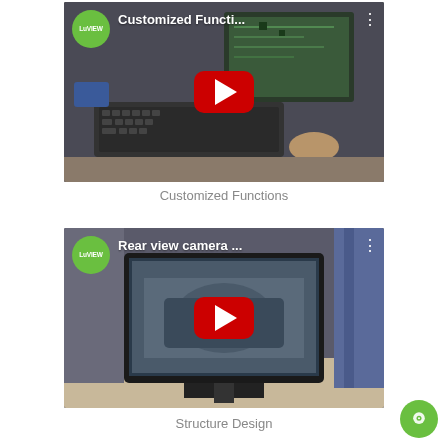[Figure (screenshot): YouTube video thumbnail showing 'Customized Functi...' with LuView green badge, play button, and a workspace with keyboards and monitors in the background]
Customized Functions
[Figure (screenshot): YouTube video thumbnail showing 'Rear view camera ...' with LuView green badge, play button, and a monitor/display on a desk]
Structure Design